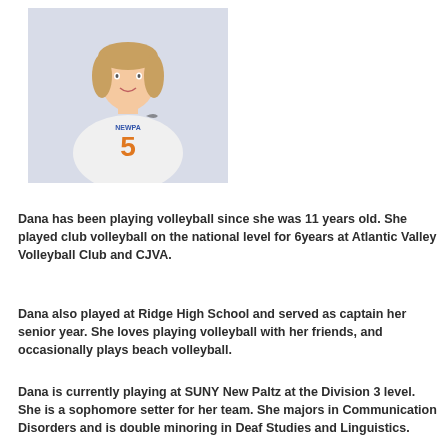[Figure (photo): Athlete photo of Dana wearing SUNY New Paltz volleyball jersey number 5, arms crossed, smiling]
Dana has been playing volleyball since she was 11 years old. She played club volleyball on the national level for 6years at Atlantic Valley Volleyball Club and CJVA.
Dana also played at Ridge High School and served as captain her senior year. She loves playing volleyball with her friends, and occasionally plays beach volleyball.
Dana is currently playing at SUNY New Paltz at the Division 3 level. She is a sophomore setter for her team. She majors in Communication Disorders and is double minoring in Deaf Studies and Linguistics.